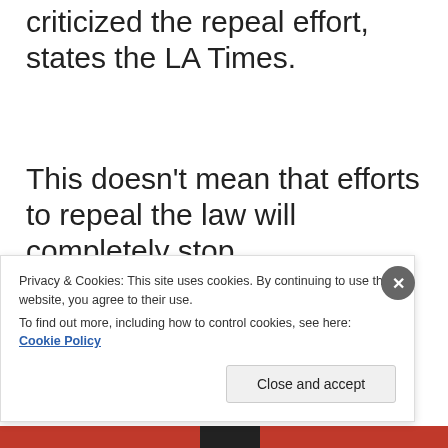criticized the repeal effort, states the LA Times.
This doesn’t mean that efforts to repeal the law will completely stop.
“Only 18% of Americans want to go back
Privacy & Cookies: This site uses cookies. By continuing to use this website, you agree to their use.
To find out more, including how to control cookies, see here: Cookie Policy
Close and accept